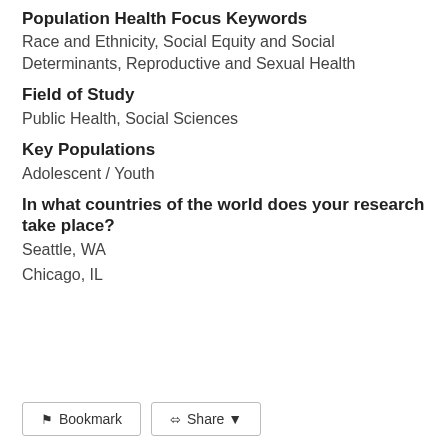Population Health Focus Keywords
Race and Ethnicity, Social Equity and Social Determinants, Reproductive and Sexual Health
Field of Study
Public Health, Social Sciences
Key Populations
Adolescent / Youth
In what countries of the world does your research take place?
Seattle, WA
Chicago, IL